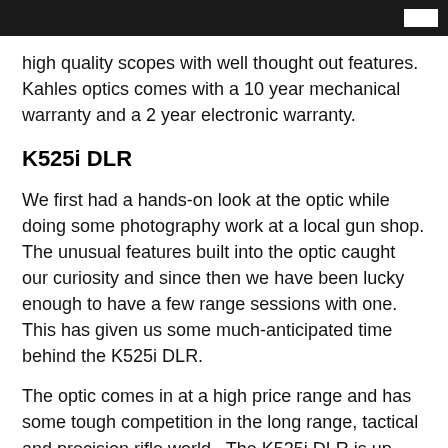high quality scopes with well thought out features. Kahles optics comes with a 10 year mechanical warranty and a 2 year electronic warranty.
K525i DLR
We first had a hands-on look at the optic while doing some photography work at a local gun shop. The unusual features built into the optic caught our curiosity and since then we have been lucky enough to have a few range sessions with one. This has given us some much-anticipated time behind the K525i DLR.
The optic comes in at a high price range and has some tough competition in the long range, tactical and precision rifle world.  The K525i DLR is up against popular brands such as the Nightforce ATACR, Leupold Mark 5HD and Schmid and Bender PM II, while Kahles has a long...